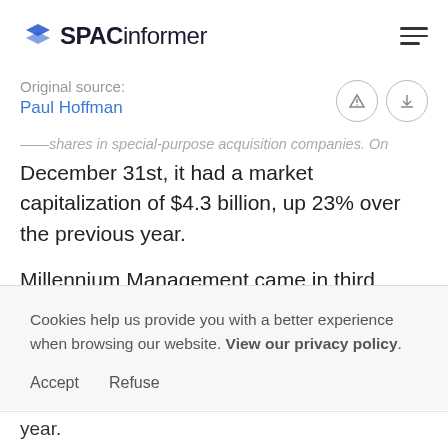SPAC informer
Original source:
Paul Hoffman
...shares in special purpose acquisition companies. On December 31st, it had a market capitalization of $4.3 billion, up 23% over the previous year.
Millennium Management came in third place and boosted its SPAC holdings to $5.2 billion from $4.2 billion at the...
Cookies help us provide you with a better experience when browsing our website. View our privacy policy.
Accept   Refuse
year.